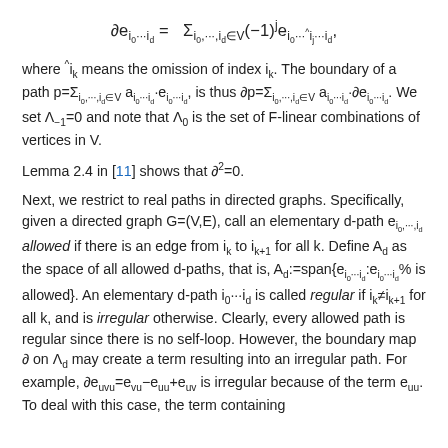where ^i_k means the omission of index i_k. The boundary of a path p=∑_{i_0,···,i_d∈V} a_{i_0···i_d}·e_{i_0···i_d}, is thus ∂p=∑_{i_0,···,i_d∈V} a_{i_0···i_d}·∂e_{i_0···i_d}. We set Λ_{-1}=0 and note that Λ_0 is the set of F-linear combinations of vertices in V.
Lemma 2.4 in [11] shows that ∂²=0.
Next, we restrict to real paths in directed graphs. Specifically, given a directed graph G=(V,E), call an elementary d-path e_{i_0,···,i_d} allowed if there is an edge from i_k to i_{k+1} for all k. Define A_d as the space of all allowed d-paths, that is, A_d:=span{e_{i_0···i_d}:e_{i_0···i_d}% is allowed}. An elementary d-path i_0···i_d is called regular if i_k≠i_{k+1} for all k, and is irregular otherwise. Clearly, every allowed path is regular since there is no self-loop. However, the boundary map ∂ on Λ_d may create a term resulting into an irregular path. For example, ∂e_{uvu}=e_{vu}-e_{uu}+e_{uv} is irregular because of the term e_{uu}. To deal with this case, the term containing